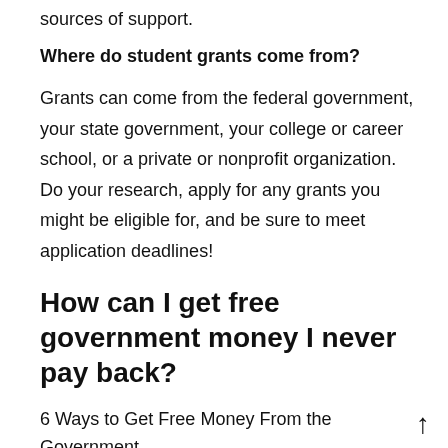sources of support.
Where do student grants come from?
Grants can come from the federal government, your state government, your college or career school, or a private or nonprofit organization. Do your research, apply for any grants you might be eligible for, and be sure to meet application deadlines!
How can I get free government money I never pay back?
6 Ways to Get Free Money From the Government
Get help with utility bills. Need help paying your heating or phone bill?
Find money for child care. Day care is a major